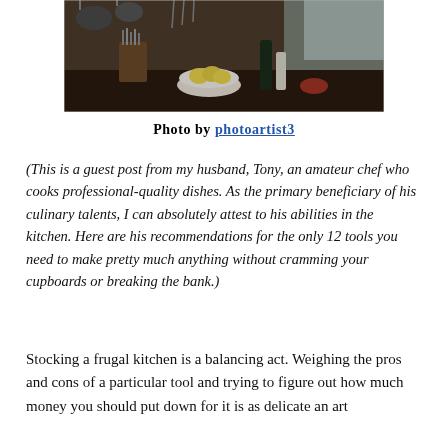[Figure (photo): A well-stocked kitchen counter with knives, pots, pans, kitchen utensils, a knife block, a bowl of lemons, and various cooking tools, with a window in the background.]
Photo by photoartist3
(This is a guest post from my husband, Tony, an amateur chef who cooks professional-quality dishes. As the primary beneficiary of his culinary talents, I can absolutely attest to his abilities in the kitchen. Here are his recommendations for the only 12 tools you need to make pretty much anything without cramming your cupboards or breaking the bank.)
Stocking a frugal kitchen is a balancing act. Weighing the pros and cons of a particular tool and trying to figure out how much money you should put down for it is as delicate an art